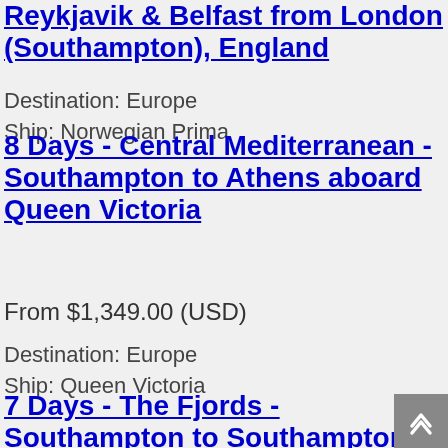Reykjavik & Belfast from London (Southampton), England
Destination: Europe
Ship: Norwegian Prima
8 Days - Central Mediterranean - Southampton to Athens aboard Queen Victoria
From $1,349.00 (USD)
Destination: Europe
Ship: Queen Victoria
7 Days - The Fjords - Southampton to Southampton aboard Queen